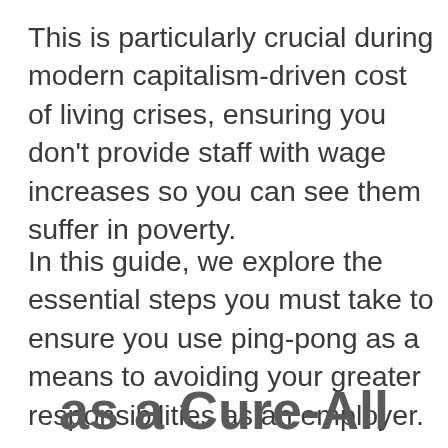This is particularly crucial during modern capitalism-driven cost of living crises, ensuring you don't provide staff with wage increases so you can see them suffer in poverty.
In this guide, we explore the essential steps you must take to ensure you use ping-pong as a means to avoiding your greater responsibilities as an employer.
Cookies & Privacy: This site uses cookies. By continuing to use this website, you agree to their use. To find out more, including how to control cookies, click here: Cookie Policy
Accept & Close
as a Cure-All